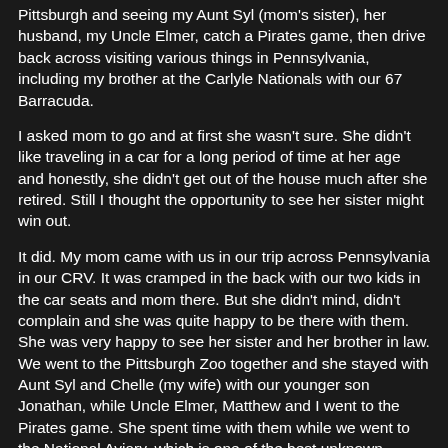Pittsburgh and seeing my Aunt Syl (mom's sister), her husband, my Uncle Elmer, catch a Pirates game, then drive back across visiting various things in Pennsylvania, including my brother at the Carlyle Nationals with our 67 Barracuda.
I asked mom to go and at first she wasn't sure. She didn't like traveling in a car for a long period of time at her age and honestly, she didn't get out of the house much after she retired. Still I thought the opportunity to see her sister might win out.
It did. My mom came with us in our trip across Pennsylvania in our CRV. It was cramped in the back with our two kids in the car seats and mom there. But she didn't mind, didn't complain and she was quite happy to be there with them. She was very happy to see her sister and her brother in law. We went to the Pittsburgh Zoo together and she stayed with Aunt Syl and Chelle (my wife) with our younger son Jonathan, while Uncle Elmer, Matthew and I went to the Pirates game. She spent time with them while we went to the National Aviary, which is one of the best unknown treasures in Pittsburgh.